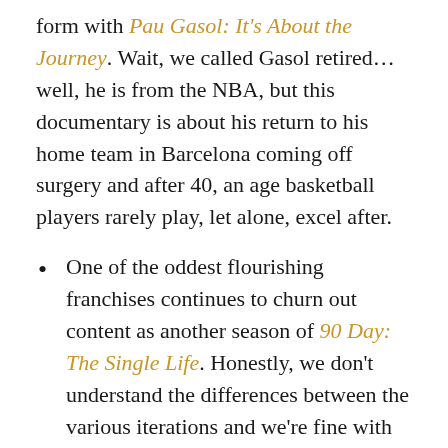form with Pau Gasol: It's About the Journey. Wait, we called Gasol retired… well, he is from the NBA, but this documentary is about his return to his home team in Barcelona coming off surgery and after 40, an age basketball players rarely play, let alone, excel after.
One of the oddest flourishing franchises continues to churn out content as another season of 90 Day: The Single Life. Honestly, we don't understand the differences between the various iterations and we're fine with that. However, we do love this Dante Elephante song the series inspired.